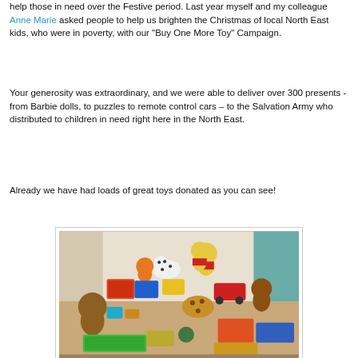help those in need over the Festive period. Last year myself and my colleague Anne Marie asked people to help us brighten the Christmas of local North East kids, who were in poverty, with our "Buy One More Toy" Campaign.
Your generosity was extraordinary, and we were able to deliver over 300 presents - from Barbie dolls, to puzzles to remote control cars – to the Salvation Army who distributed to children in need right here in the North East.
Already we have had loads of great toys donated as you can see!
[Figure (photo): A large collection of donated toys spread across a floor, including stuffed animals (Winnie the Pooh bears, dog, monkey), boxed games, toy cars, puzzles, and various other children's toys.]